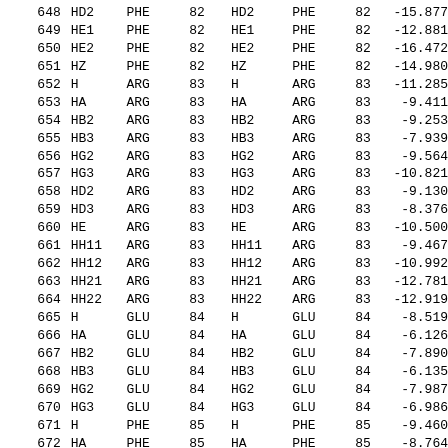| index | atom | res | resnum | atom2 | res2 | resnum2 | value |
| --- | --- | --- | --- | --- | --- | --- | --- |
| 648 | HD2 | PHE | 82 | HD2 | PHE | 82 | -15.877 |
| 649 | HE1 | PHE | 82 | HE1 | PHE | 82 | -12.881 |
| 650 | HE2 | PHE | 82 | HE2 | PHE | 82 | -16.472 |
| 651 | HZ | PHE | 82 | HZ | PHE | 82 | -14.980 |
| 652 | H | ARG | 83 | H | ARG | 83 | -11.285 |
| 653 | HA | ARG | 83 | HA | ARG | 83 | -9.411 |
| 654 | HB2 | ARG | 83 | HB2 | ARG | 83 | -9.253 |
| 655 | HB3 | ARG | 83 | HB3 | ARG | 83 | -7.939 |
| 656 | HG2 | ARG | 83 | HG2 | ARG | 83 | -9.564 |
| 657 | HG3 | ARG | 83 | HG3 | ARG | 83 | -10.821 |
| 658 | HD2 | ARG | 83 | HD2 | ARG | 83 | -9.130 |
| 659 | HD3 | ARG | 83 | HD3 | ARG | 83 | -8.376 |
| 660 | HE | ARG | 83 | HE | ARG | 83 | -10.500 |
| 661 | HH11 | ARG | 83 | HH11 | ARG | 83 | -9.467 |
| 662 | HH12 | ARG | 83 | HH12 | ARG | 83 | -10.992 |
| 663 | HH21 | ARG | 83 | HH21 | ARG | 83 | -12.781 |
| 664 | HH22 | ARG | 83 | HH22 | ARG | 83 | -12.919 |
| 665 | H | GLU | 84 | H | GLU | 84 | -8.519 |
| 666 | HA | GLU | 84 | HA | GLU | 84 | -6.126 |
| 667 | HB2 | GLU | 84 | HB2 | GLU | 84 | -7.890 |
| 668 | HB3 | GLU | 84 | HB3 | GLU | 84 | -6.135 |
| 669 | HG2 | GLU | 84 | HG2 | GLU | 84 | -7.987 |
| 670 | HG3 | GLU | 84 | HG3 | GLU | 84 | -6.986 |
| 671 | H | PHE | 85 | H | PHE | 85 | -9.460 |
| 672 | HA | PHE | 85 | HA | PHE | 85 | -8.764 |
| 673 | HB2 | PHE | 85 | HB2 | PHE | 85 | -11.053 |
| 674 | HB3 | PHE | 85 | HB3 | PHE | 85 | -11.194 |
| 675 | HD1 | PHE | 85 | HD1 | PHE | 85 | -12.703 |
| 676 | HD2 | PHE | 85 | HD2 | PHE | 85 | -10.009 |
| 677 | HE1 | PHE | 85 | HE1 | PHE | 85 | -13.569 |